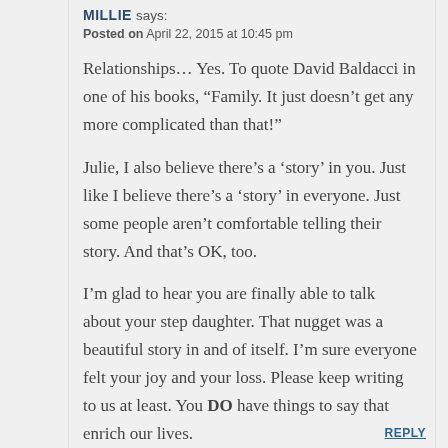MILLIE says:
Posted on April 22, 2015 at 10:45 pm
Relationships… Yes. To quote David Baldacci in one of his books, “Family. It just doesn’t get any more complicated than that!”
Julie, I also believe there’s a ‘story’ in you. Just like I believe there’s a ‘story’ in everyone. Just some people aren’t comfortable telling their story. And that’s OK, too.
I’m glad to hear you are finally able to talk about your step daughter. That nugget was a beautiful story in and of itself. I’m sure everyone felt your joy and your loss. Please keep writing to us at least. You DO have things to say that enrich our lives.
REPLY